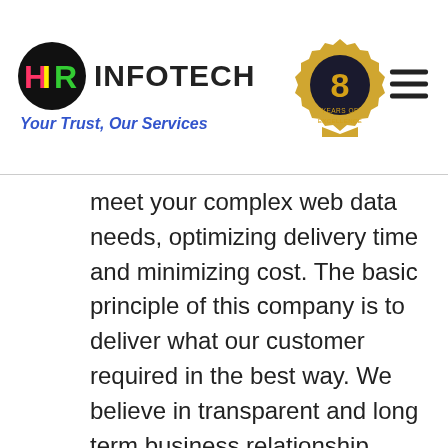[Figure (logo): HIR Infotech logo with colorful HIR letters in a black circle, followed by INFOTECH text in bold, and tagline 'Your Trust, Our Services' in blue italic below]
[Figure (illustration): Gold/dark badge with number 8 and text 'YEARS OF EXCELLENCE']
meet your complex web data needs, optimizing delivery time and minimizing cost. The basic principle of this company is to deliver what our customer required in the best way. We believe in transparent and long term business relationship.